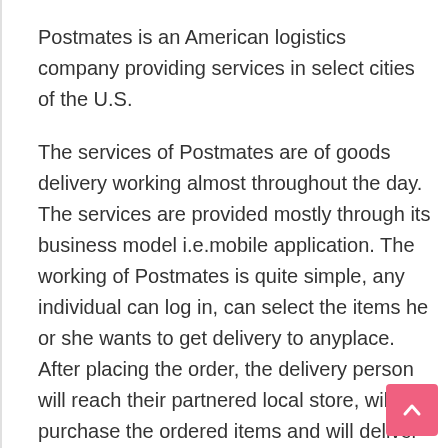Postmates is an American logistics company providing services in select cities of the U.S.
The services of Postmates are of goods delivery working almost throughout the day. The services are provided mostly through its business model i.e.mobile application. The working of Postmates is quite simple, any individual can log in, can select the items he or she wants to get delivery to anyplace. After placing the order, the delivery person will reach their partnered local store, will purchase the ordered items and will deliver it at the desired location.
The working of Postmates is similar to Uber . What makes services of Postmates unique is